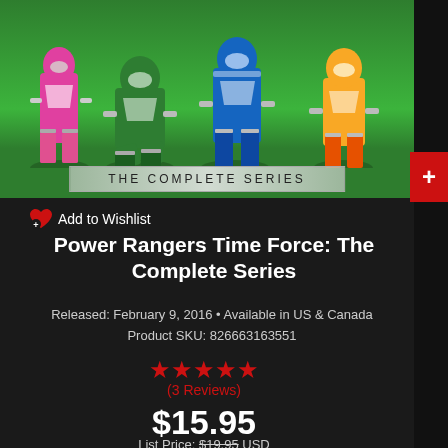[Figure (photo): Power Rangers Time Force: The Complete Series DVD cover showing multiple Power Rangers characters in colorful suits (pink, green, blue, yellow) posing on a green background with 'THE COMPLETE SERIES' banner]
+ Add to Wishlist
Power Rangers Time Force: The Complete Series
Released: February 9, 2016 • Available in US & Canada
Product SKU: 826663163551
★★★★★
(3 Reviews)
$15.95
List Price: $19.95 USD